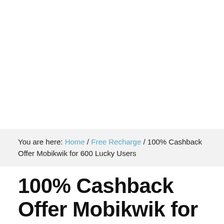You are here: Home / Free Recharge / 100% Cashback Offer Mobikwik for 600 Lucky Users
100% Cashback Offer Mobikwik for 600 Lucky Users